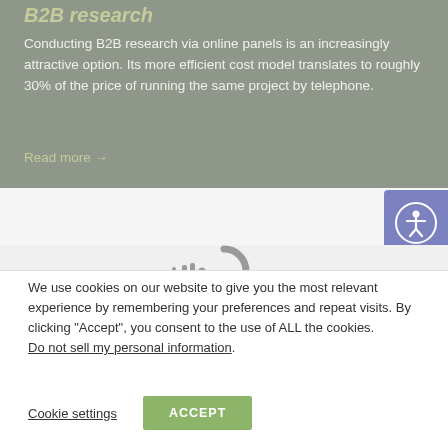B2B research
Conducting B2B research via online panels is an increasingly attractive option. Its more efficient cost model translates to roughly 30% of the price of running the same project by telephone.
Read more →
[Figure (illustration): Accessibility icon button (person with arms outstretched in circle) on purple/blue background]
[Figure (illustration): Partial loading spinner graphic in gray on light background]
We use cookies on our website to give you the most relevant experience by remembering your preferences and repeat visits. By clicking "Accept", you consent to the use of ALL the cookies. Do not sell my personal information.
Cookie settings   ACCEPT